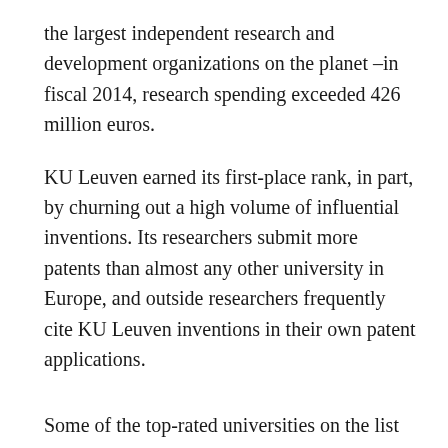the largest independent research and development organizations on the planet –in fiscal 2014, research spending exceeded 426 million euros.
KU Leuven earned its first-place rank, in part, by churning out a high volume of influential inventions. Its researchers submit more patents than almost any other university in Europe, and outside researchers frequently cite KU Leuven inventions in their own patent applications.
Some of the top-rated universities on the list were created when larger institutions spun out their technical departments. Imperial College London